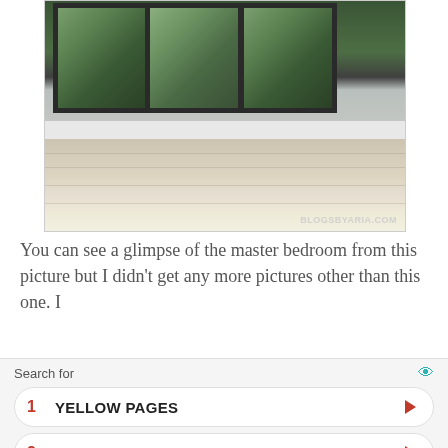[Figure (photo): Interior room photo showing large multi-pane windows with green trees visible outside, white wainscoting baseboard trim, light grey walls, and light wood/laminate flooring. Watermark reads BLOGSBYARIA.COM in bottom right corner.]
You can see a glimpse of the master bedroom from this picture but I didn’t get any more pictures other than this one.  I
1 YELLOW PAGES
2 LUXURY CARS